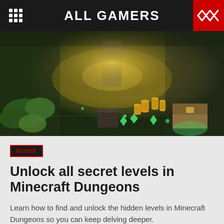ALL GAMERS
[Figure (screenshot): Isometric view of Minecraft Dungeons dungeon scene with golden light, blocks, treasure chest, gold coins and green gems on stone floor]
GUIDE
Unlock all secret levels in Minecraft Dungeons
Learn how to find and unlock the hidden levels in Minecraft Dungeons so you can keep delving deeper.